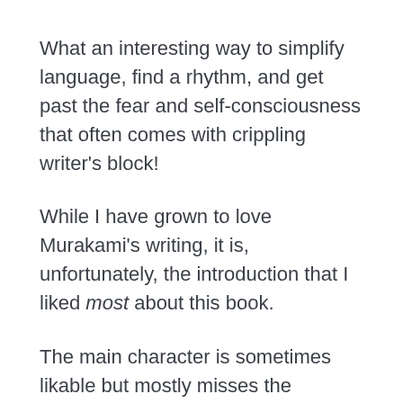What an interesting way to simplify language, find a rhythm, and get past the fear and self-consciousness that often comes with crippling writer's block!
While I have grown to love Murakami's writing, it is, unfortunately, the introduction that I liked most about this book.
The main character is sometimes likable but mostly misses the relatability that will come with Murakami's future characters. And, while Murakami dabbles in the alternate universes that